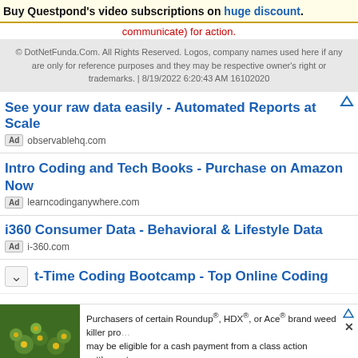Buy Questpond's video subscriptions on huge discount.
communicate) for action.
© DotNetFunda.Com. All Rights Reserved. Logos, company names used here if any are only for reference purposes and they may be respective owner's right or trademarks. | 8/19/2022 6:20:43 AM 16102020
See your raw data easily - Automated Reports at Scale
Ad  observablehq.com
Intro Coding and Tech Books - Purchase on Amazon Now
Ad  learncodinganywhere.com
i360 Consumer Data - Behavioral & Lifestyle Data
Ad  i-360.com
t-Time Coding Bootcamp - Top Online Coding
Purchasers of certain Roundup®, HDX®, or Ace® brand weed killer products may be eligible for a cash payment from a class action settlement. Visit www.WeedKillerAdSettlement.com to learn more.